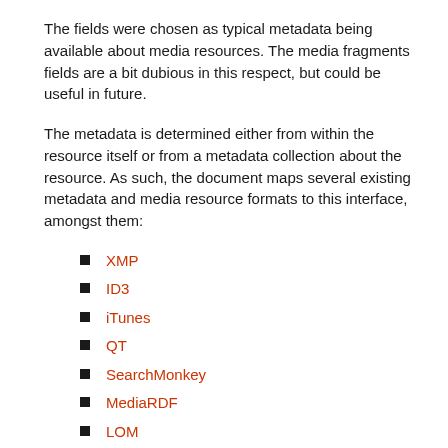The fields were chosen as typical metadata being available about media resources. The media fragments fields are a bit dubious in this respect, but could be useful in future.
The metadata is determined either from within the resource itself or from a metadata collection about the resource. As such, the document maps several existing metadata and media resource formats to this interface, amongst them:
XMP
ID3
iTunes
QT
SearchMonkey
MediaRDF
LOM
METS